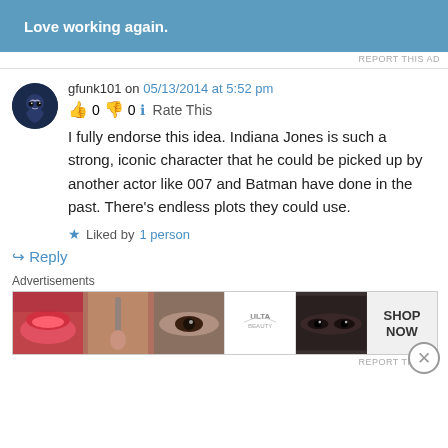[Figure (other): Blue advertisement banner with white bold text 'Love working again.']
REPORT THIS AD
gfunk101 on 05/13/2014 at 5:52 pm
👍 0 👎 0 ℹ Rate This
I fully endorse this idea. Indiana Jones is such a strong, iconic character that he could be picked up by another actor like 007 and Batman have done in the past. There's endless plots they could use.
★ Liked by 1 person
↪ Reply
Advertisements
[Figure (photo): Ulta Beauty advertisement strip showing makeup images: lips, brush, eye, Ulta logo, eyes, Shop Now text]